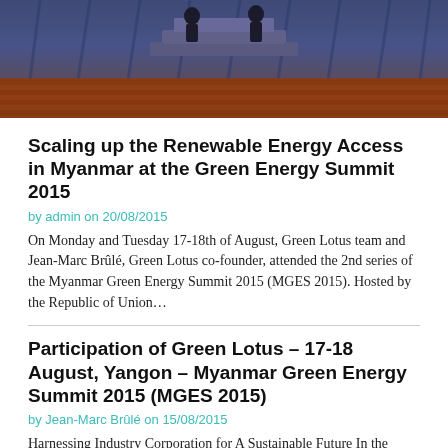[Figure (photo): Photo from the Myanmar Green Energy Summit 2015, showing a stage or podium with blue draping and steps in the background, with figures visible.]
Scaling up the Renewable Energy Access in Myanmar at the Green Energy Summit 2015
by admin on 20/08/2015
On Monday and Tuesday 17-18th of August, Green Lotus team and Jean-Marc Brûlé, Green Lotus co-founder, attended the 2nd series of the Myanmar Green Energy Summit 2015 (MGES 2015). Hosted by the Republic of Union…
Participation of Green Lotus – 17-18 August, Yangon – Myanmar Green Energy Summit 2015 (MGES 2015)
by Jean-Marc Brûlé on 15/08/2015
Harnessing Industry Corporation for A Sustainable Future In the middle of the fastest growing region in the world – East Asia, Myanmar holds great promise as the next big market. Notwithstanding its plentiful hydroelectricity…